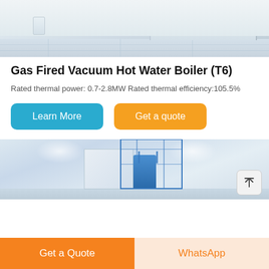[Figure (photo): Top portion of a white kitchen or indoor space with tiled floor and white cabinet/counter unit, light gray tones]
Gas Fired Vacuum Hot Water Boiler (T6)
Rated thermal power: 0.7-2.8MW Rated thermal efficiency:105.5%
[Figure (other): Blue Learn More button]
[Figure (other): Orange Get a quote button]
[Figure (photo): Industrial boiler equipment in a large warehouse/factory space, blue and white boiler unit with scaffolding/frame]
Get a Quote
WhatsApp